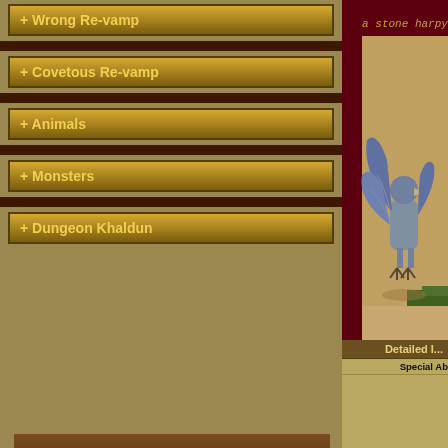+ Wrong Re-vamp
+ Covetous Re-vamp
+ Animals
+ Monsters
+ Dungeon Khaldun
[Figure (illustration): Travian: Rise of Alliances advertisement with shield logo and character]
[Figure (illustration): Pixel art of a stone harpy — a grey bird-like creature with wings spread, standing on sandy ground with green grass. Label says 'a stone harpy']
Detailed I...
| Field | Value |
| --- | --- |
| Special Abilities: | None |
| Loot: | 275 - 325 Gold. 2 Gems
Carved: 50 Feathers, 1 Raw R... |
| Found At: | Chaos Moongate, Harpy Nest, ... |
| Related To: | Harpy |
| First Seen: | The Second Age |
| Damage: | 8 - 16 HP, 75% Physical Damag... |
| Loyalty: | Not Given |
| Fame: | Level 3 (4500) |
| Magic Level: | None |
| Slayer Weapon Vulnerability: | None |
| Required Taming: | - |
| Pack Instincts: | None |
| Preferred Foods: | Meat |